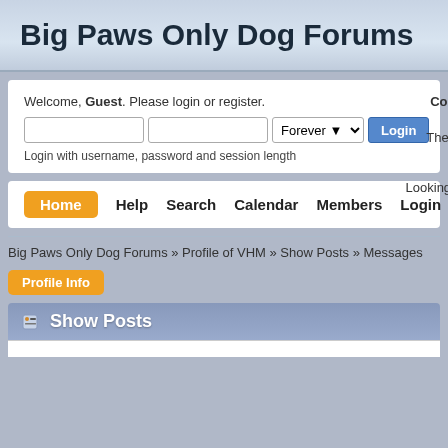Big Paws Only Dog Forums
Welcome, Guest. Please login or register.
Login with username, password and session length
Congrat
The BPO Ca
Looking for s
Home  Help  Search  Calendar  Members  Login  Register
Big Paws Only Dog Forums » Profile of VHM » Show Posts » Messages
Profile Info
Show Posts